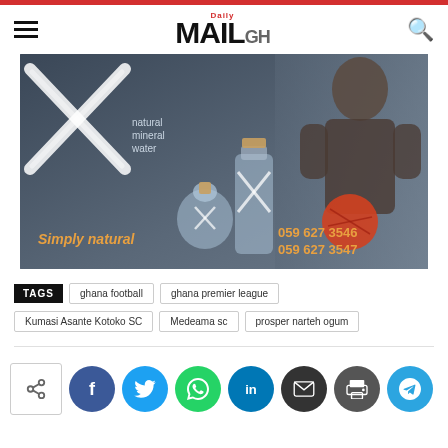Daily MAIL GH
[Figure (photo): Advertisement for X natural mineral water brand showing two water bottles with an X logo, a shirtless male athlete holding a football, the text 'Simply natural' and phone numbers 059 627 3546 and 059 627 3547]
TAGS  ghana football  ghana premier league  Kumasi Asante Kotoko SC  Medeama sc  prosper narteh ogum
[Figure (infographic): Social share buttons row: share icon box, Facebook, Twitter, WhatsApp, LinkedIn, Email, Print, Telegram]